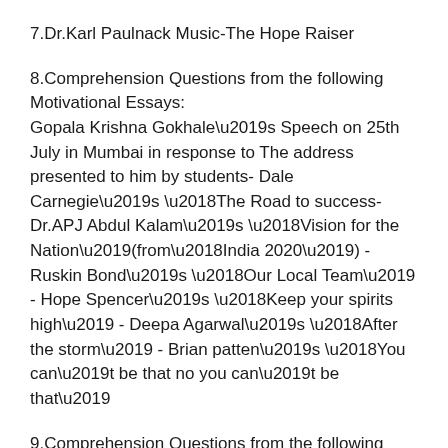7.Dr.Karl Paulnack Music-The Hope Raiser
8.Comprehension Questions from the following Motivational Essays:
Gopala Krishna Gokhale’s Speech on 25th July in Mumbai in response to The address presented to him by students- Dale Carnegie’s ‘The Road to success- Dr.APJ Abdul Kalam’s ‘Vision for the Nation’(from‘India 2020’) - Ruskin Bond’s ‘Our Local Team’ - Hope Spencer’s ‘Keep your spirits high’ - Deepa Agarwal’s ‘After the storm’ - Brian patten’s ‘You can’t be that no you can’t be that’
9.Comprehension Questions from the following description of Places Ahtushi Deshpande’s ‘To the land of snow’ - Manohar Devadoss – Yaanai Malai - Brihadeesvarar Temple